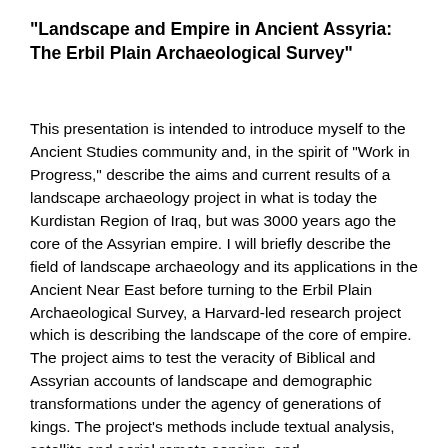"Landscape and Empire in Ancient Assyria: The Erbil Plain Archaeological Survey"
This presentation is intended to introduce myself to the Ancient Studies community and, in the spirit of "Work in Progress," describe the aims and current results of a landscape archaeology project in what is today the Kurdistan Region of Iraq, but was 3000 years ago the core of the Assyrian empire. I will briefly describe the field of landscape archaeology and its applications in the Ancient Near East before turning to the Erbil Plain Archaeological Survey, a Harvard-led research project which is describing the landscape of the core of empire. The project aims to test the veracity of Biblical and Assyrian accounts of landscape and demographic transformations under the agency of generations of kings. The project's methods include textual analysis, satellite and aerial remote sensing, and